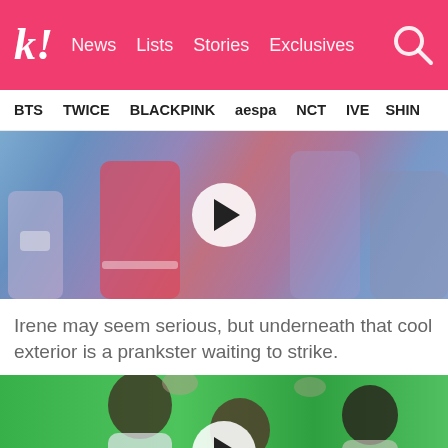k! News  Lists  Stories  Exclusives
BTS  TWICE  BLACKPINK  aespa  NCT  IVE  SHINee
[Figure (photo): Video thumbnail showing people on a stage with colorful lighting, a white circular play button in the center]
Irene may seem serious, but underneath that cool exterior is a prankster waiting to strike.
[Figure (photo): Video thumbnail showing people on a green screen background, a white circular play button in the center]